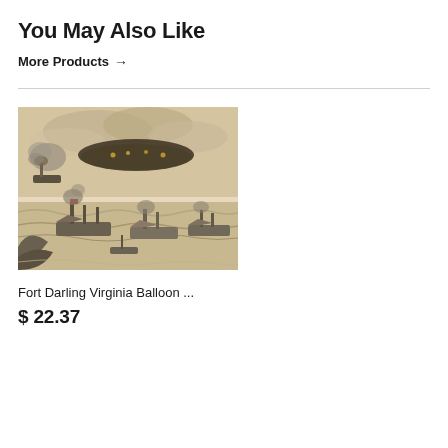You May Also Like
More Products →
[Figure (illustration): Sepia-toned historical illustration showing Civil War era naval vessels and a military balloon (airship) in a battle or reconnaissance scene, with ships on water and dramatic sky with clouds.]
Fort Darling Virginia Balloon ...
$ 22.37